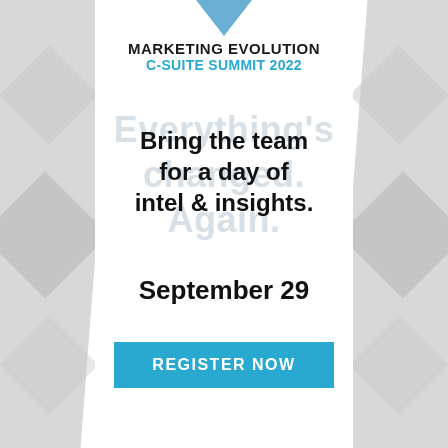MARKETING EVOLUTION C-SUITE SUMMIT 2022
Bring the team for a day of intel & insights.
Everything's changed. Again.
September 29
REGISTER NOW